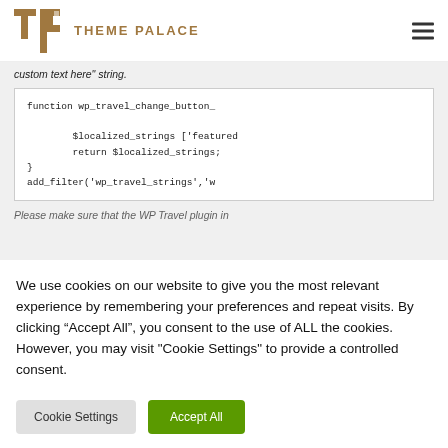THEME PALACE
custom text here" string.
[Figure (screenshot): Code block showing PHP function wp_travel_change_button_ with $localized_strings ['featured, return $localized_strings; } add_filter('wp_travel_strings','w]
Please make sure that the WP Travel plugin in
We use cookies on our website to give you the most relevant experience by remembering your preferences and repeat visits. By clicking “Accept All”, you consent to the use of ALL the cookies. However, you may visit "Cookie Settings" to provide a controlled consent.